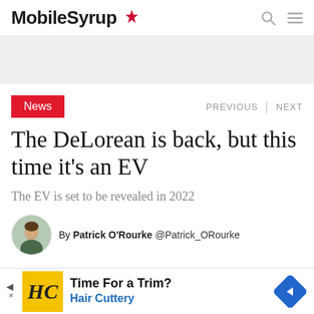MobileSyrup
[Figure (other): Gray advertisement banner placeholder]
News   PREVIOUS | NEXT
The DeLorean is back, but this time it's an EV
The EV is set to be revealed in 2022
By Patrick O'Rourke @Patrick_ORourke
[Figure (other): Advertisement: Time For a Trim? Hair Cuttery]